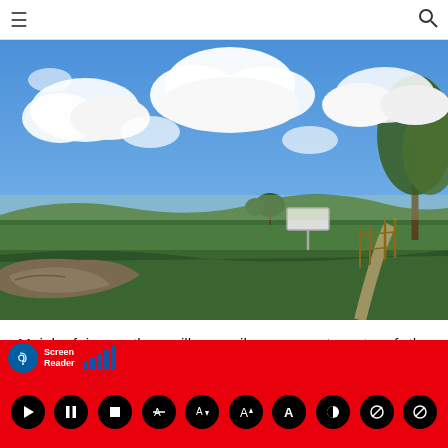≡  🔍
[Figure (photo): Outdoor countryside landscape photo showing green fields under a partly cloudy blue sky, with trees on the right and rocky rubble in the foreground left.]
Mainly fair weather will prevail over most parts of the island.However there is a slight possibility for Showers or
[Figure (other): Screen Reader accessibility toolbar with red background, showing ear/accessibility icon, signal bars, and playback/text controls buttons.]